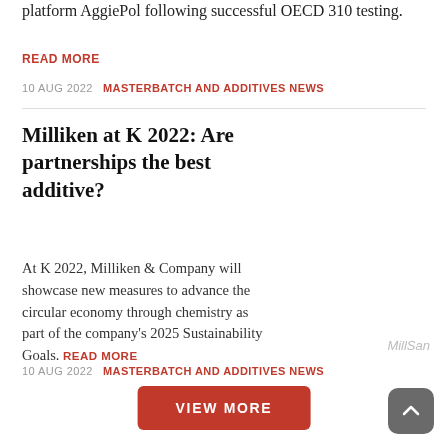platform AggiePol following successful OECD 310 testing.
READ MORE
10 AUG 2022  MASTERBATCH AND ADDITIVES NEWS
Milliken at K 2022: Are partnerships the best additive?
At K 2022, Milliken & Company will showcase new measures to advance the circular economy through chemistry as part of the company's 2025 Sustainability Goals. READ MORE
MillSan
10 AUG 2022  MASTERBATCH AND ADDITIVES NEWS
VIEW MORE